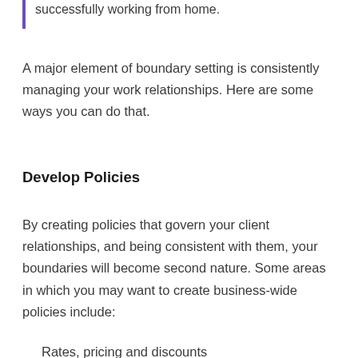successfully working from home.
A major element of boundary setting is consistently managing your work relationships. Here are some ways you can do that.
Develop Policies
By creating policies that govern your client relationships, and being consistent with them, your boundaries will become second nature. Some areas in which you may want to create business-wide policies include:
Rates, pricing and discounts